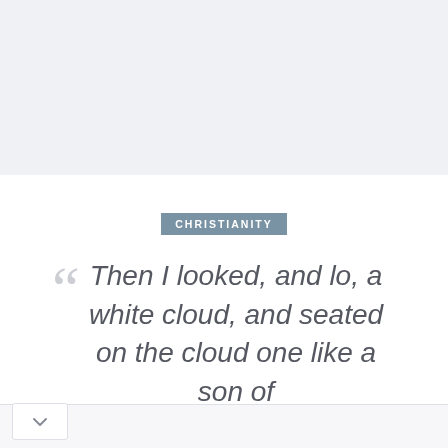[Figure (illustration): Light gray/blue top image placeholder area]
CHRISTIANITY
Then I looked, and lo, a white cloud, and seated on the cloud one like a son of